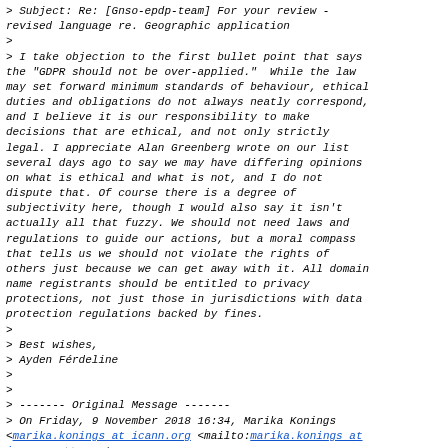> Subject: Re: [Gnso-epdp-team] For your review - revised language re. Geographic application
>
> I take objection to the first bullet point that says the "GDPR should not be over-applied."  While the law may set forward minimum standards of behaviour, ethical duties and obligations do not always neatly correspond, and I believe it is our responsibility to make decisions that are ethical, and not only strictly legal. I appreciate Alan Greenberg wrote on our list several days ago to say we may have differing opinions on what is ethical and what is not, and I do not dispute that. Of course there is a degree of subjectivity here, though I would also say it isn't actually all that fuzzy. We should not need laws and regulations to guide our actions, but a moral compass that tells us we should not violate the rights of others just because we can get away with it. All domain name registrants should be entitled to privacy protections, not just those in jurisdictions with data protection regulations backed by fines.
>
> Best wishes,
> Ayden Férdeline
>
>
> ------- Original Message -------
> On Friday, 9 November 2018 16:34, Marika Konings <marika.konings at icann.org <mailto:marika.konings at icann.org>> wrote: